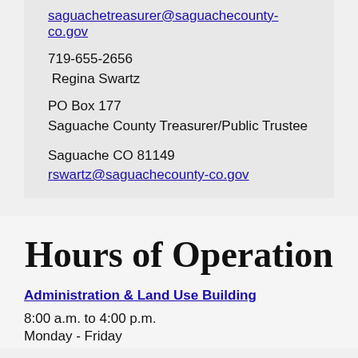saguachetreasurer@saguachecounty-co.gov
719-655-2656
Regina Swartz
PO Box 177
Saguache County Treasurer/Public Trustee
Saguache CO 81149
rswartz@saguachecounty-co.gov
Hours of Operation
Administration & Land Use Building
8:00 a.m. to 4:00 p.m.
Monday - Friday